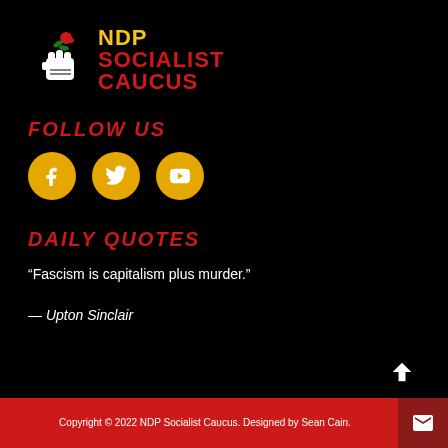[Figure (logo): NDP Socialist Caucus logo with rose and fist icon, text 'NDP SOCIALIST CAUCUS' in yellow and red]
FOLLOW US
[Figure (infographic): Three golden circular social media buttons: Facebook (f), Twitter (bird), YouTube (play/camera)]
DAILY QUOTES
“Fascism is capitalism plus murder.”
— Upton Sinclair
Copyright © 2022 NDP Socialist Caucus. Designed by Sean Cain.